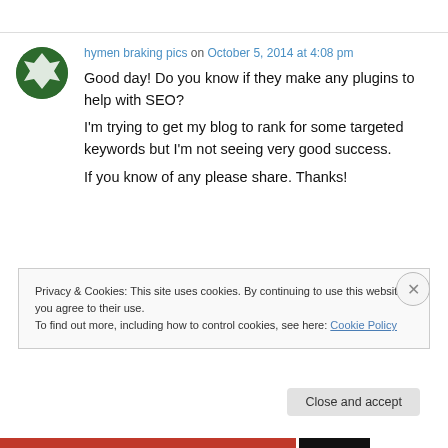hymen braking pics on October 5, 2014 at 4:08 pm
Good day! Do you know if they make any plugins to help with SEO? I'm trying to get my blog to rank for some targeted keywords but I'm not seeing very good success. If you know of any please share. Thanks!
Privacy & Cookies: This site uses cookies. By continuing to use this website, you agree to their use. To find out more, including how to control cookies, see here: Cookie Policy
Close and accept